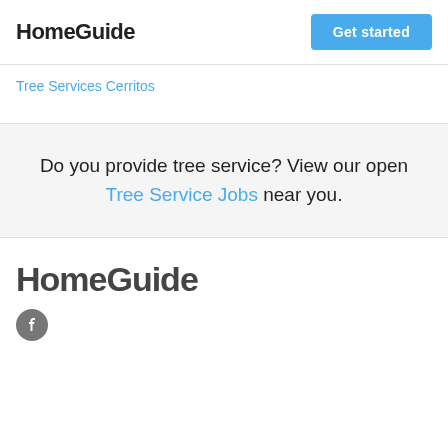HomeGuide | Get started
Tree Services Cerritos
Do you provide tree service? View our open Tree Service Jobs near you.
HomeGuide
[Figure (logo): Facebook social media icon - grey circle with white f letter]